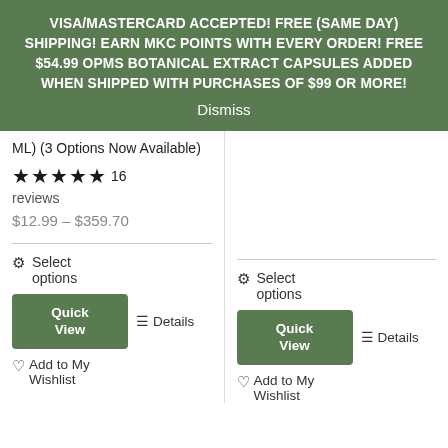VISA/MASTERCARD ACCEPTED! FREE (SAME DAY) SHIPPING! EARN MKC POINTS WITH EVERY ORDER! FREE $54.99 OPMS BOTANICAL EXTRACT CAPSULES ADDED WHEN SHIPPED WITH PURCHASES OF $99 OR MORE!
Dismiss
ML) (3 Options Now Available)
★★★★★ 16 reviews
$12.99 – $359.70
⚙ Select options
Quick View
☰ Details
♡ Add to My Wishlist
⚙ Select options
Quick View
☰ Details
♡ Add to My Wishlist